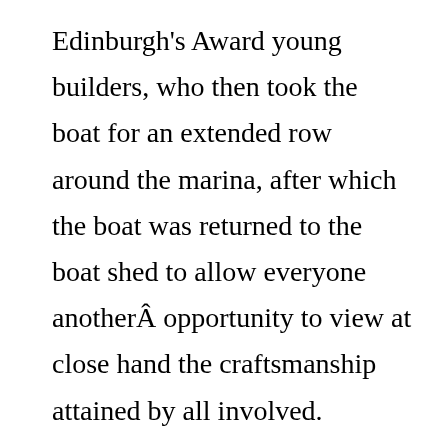Edinburgh's Award young builders, who then took the boat for an extended row around the marina, after which the boat was returned to the boat shed to allow everyone anotherÂ opportunity to view at close hand the craftsmanship attained by all involved.